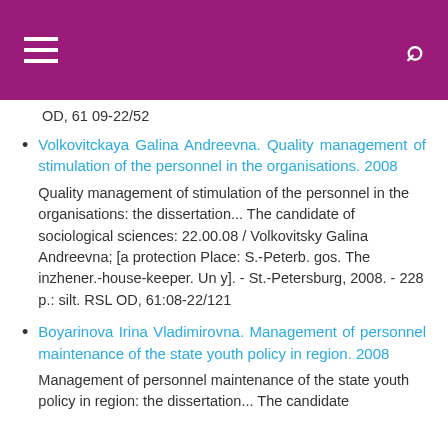OD, 61 09-22/52
Volkovitckaya Galina Andreevna. Quality management of stimulation of the personnel in the organisations. 2008
Quality management of stimulation of the personnel in the organisations: the dissertation... The candidate of sociological sciences: 22.00.08 / Volkovitsky Galina Andreevna; [a protection Place: S.-Peterb. gos. The inzhener.-house-keeper. Un y]. - St.-Petersburg, 2008. - 228 p.: silt. RSL OD, 61:08-22/121
Boyarinova Irina Vladimirovna. Management of personnel maintenance of the state youth policy in region. 2008
Management of personnel maintenance of the state youth policy in region: the dissertation... The candidate